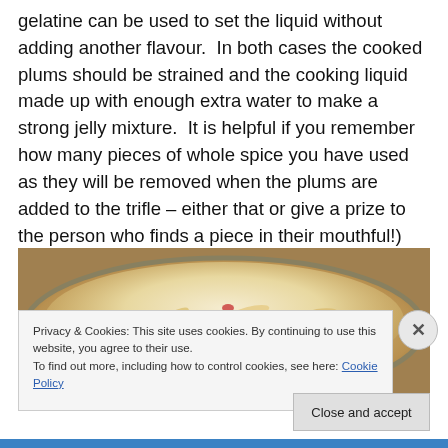gelatine can be used to set the liquid without adding another flavour.  In both cases the cooked plums should be strained and the cooking liquid made up with enough extra water to make a strong jelly mixture.  It is helpful if you remember how many pieces of whole spice you have used as they will be removed when the plums are added to the trifle – either that or give a prize to the person who finds a piece in their mouthful!)
[Figure (photo): Food photograph showing a dish with creamy topping decorated with sliced almonds and red flower petals or berries, viewed from above in a round dish.]
Privacy & Cookies: This site uses cookies. By continuing to use this website, you agree to their use.
To find out more, including how to control cookies, see here: Cookie Policy
Close and accept